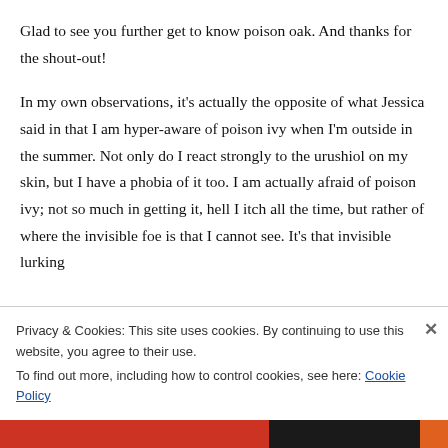Glad to see you further get to know poison oak. And thanks for the shout-out!

In my own observations, it's actually the opposite of what Jessica said in that I am hyper-aware of poison ivy when I'm outside in the summer. Not only do I react strongly to the urushiol on my skin, but I have a phobia of it too. I am actually afraid of poison ivy; not so much in getting it, hell I itch all the time, but rather of where the invisible foe is that I cannot see. It's that invisible lurking
Privacy & Cookies: This site uses cookies. By continuing to use this website, you agree to their use.
To find out more, including how to control cookies, see here: Cookie Policy
Close and accept